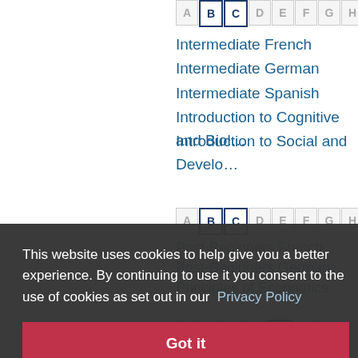[Figure (screenshot): Alphabet navigation bar with letters A B C D E F G H I J, with B and C highlighted in dark blue border and I highlighted in red border]
Intermediate French
Intermediate German
Intermediate Spanish
Introduction to Cognitive and Biological Psychology
Introduction to Social and Developmental Psychology
[Figure (screenshot): Second alphabet navigation bar with B C D E F G H I J letters]
Post-Beginners French
Post-Beginners German
Principles of Economics
This website uses cookies to help give you a better experience. By continuing to use it you consent to the use of cookies as set out in our Privacy Policy
Got it
[Figure (screenshot): Third alphabet navigation bar partial view]
Sustainable Development